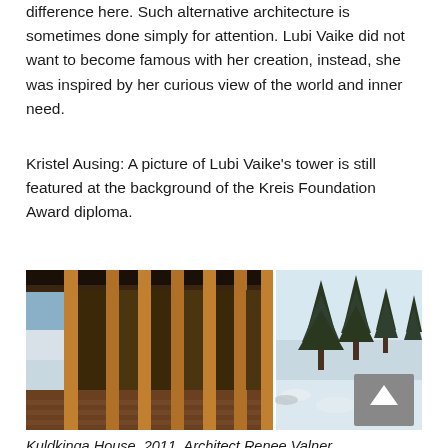difference here. Such alternative architecture is sometimes done simply for attention. Lubi Vaike did not want to become famous with her creation, instead, she was inspired by her curious view of the world and inner need.
Kristel Ausing: A picture of Lubi Vaike's tower is still featured at the background of the Kreis Foundation Award diploma.
[Figure (photo): Exterior view of wooden architecture — a covered porch/veranda with vertical wooden pillars/columns, wooden deck floor, and a winter landscape with snow-covered ground and evergreen trees visible on the right side. The image is a composite of two photos side by side.]
Kuldkinga House, 2011. Architect Renee Valner.